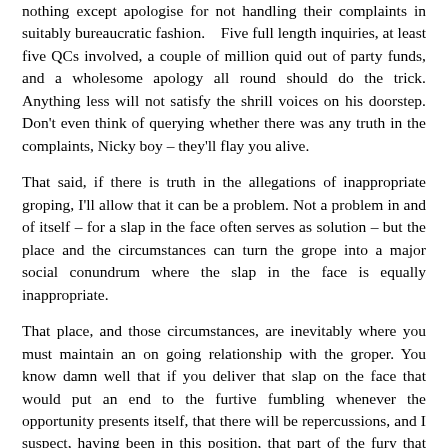nothing except apologise for not handling their complaints in suitably bureaucratic fashion.    Five full length inquiries, at least five QCs involved, a couple of million quid out of party funds, and a wholesome apology all round should do the trick. Anything less will not satisfy the shrill voices on his doorstep. Don't even think of querying whether there was any truth in the complaints, Nicky boy – they'll flay you alive.
That said, if there is truth in the allegations of inappropriate groping, I'll allow that it can be a problem. Not a problem in and of itself – for a slap in the face often serves as solution – but the place and the circumstances can turn the grope into a major social conundrum where the slap in the face is equally inappropriate.
That place, and those circumstances, are inevitably where you must maintain an on going relationship with the groper. You know damn well that if you deliver that slap on the face that would put an end to the furtive fumbling whenever the opportunity presents itself, that there will be repercussions, and I suspect, having been in this position, that part of the fury that infuses women is the knowledge that